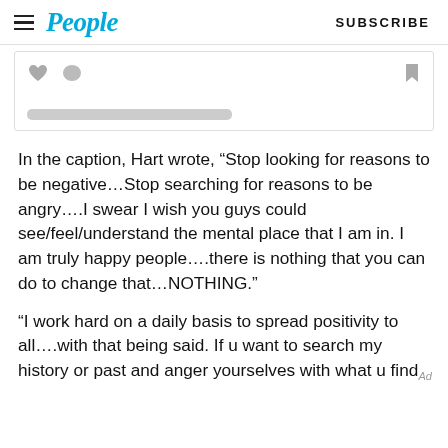People | SUBSCRIBE
[Figure (screenshot): Social media post card with heart, comment, and bookmark icons, and a gray loading bar placeholder below]
In the caption, Hart wrote, “Stop looking for reasons to be negative…Stop searching for reasons to be angry….I swear I wish you guys could see/feel/understand the mental place that I am in. I am truly happy people….there is nothing that you can do to change that…NOTHING.”
“I work hard on a daily basis to spread positivity to all….with that being said. If u want to search my history or past and anger yourselves with what u find